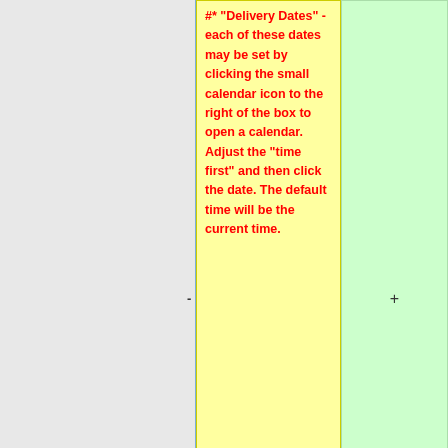|  | Description | Action |
| --- | --- | --- |
|  | #* "Delivery Dates" - each of these dates may be set by clicking the small calendar icon to the right of the box to open a calendar. Adjust the "time first" and then click the date. The default time will be the current time. | + |
|  | #** "Available Date" - The available date is the date and time at which students will be able to access the assessment. | + |
|  | #** "Due Date" - the due date is the date and time at which |  |